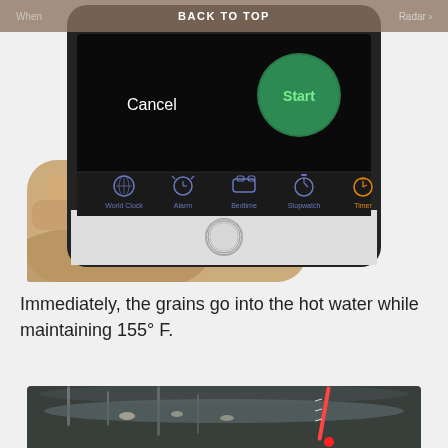BACK TO TOP    Radar >
[Figure (photo): A hand holding an iPhone with a black case showing the Clock app Timer screen. The screen displays Cancel and a green Start button, with a tab bar showing World Clock, Alarm, Bedtime, Stopwatch, and Timer (highlighted in orange) icons at the bottom.]
Immediately, the grains go into the hot water while maintaining 155° F.
[Figure (photo): A close-up photo of what appears to be grains going into hot water in a dark pot, with a thermometer visible.]